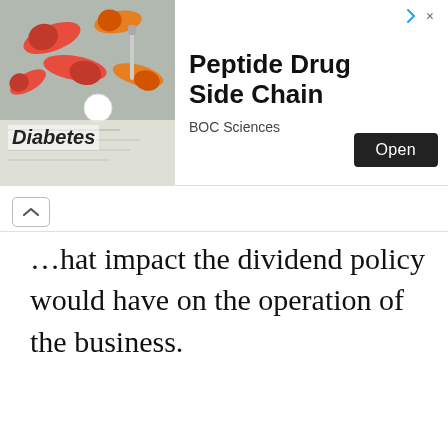[Figure (illustration): Advertisement banner: photo of diabetes medication pills and capsules (red, orange) with a document labeled 'Diabetes'. Ad for 'Peptide Drug Side Chain' by BOC Sciences with an 'Open' button.]
…hat impact the dividend policy would have on the operation of the business.